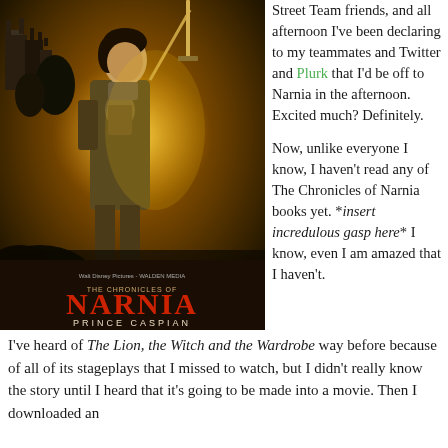[Figure (photo): Movie poster for The Chronicles of Narnia: Prince Caspian. Shows a young male warrior in armor holding a sword aloft, with a castle in the background. Text reads 'THE CHRONICLES OF NARNIA' in stylized font, 'NARNIA' large in red, 'PRINCE CASPIAN', and 'MAY 16'. Walt Disney Pictures and Walden Media logos at top.]
Street Team friends, and all afternoon I've been declaring to my teammates and Twitter and Plurk that I'd be off to Narnia in the afternoon. Excited much? Definitely.

Now, unlike everyone I know, I haven't read any of The Chronicles of Narnia books yet. *insert incredulous gasp here* I know, even I am amazed that I haven't. I've heard of The Lion, the Witch and the Wardrobe way before because of all of its stageplays that I missed to watch, but I didn't really know the story until I heard that it's going to be made into a movie. Then I downloaded an